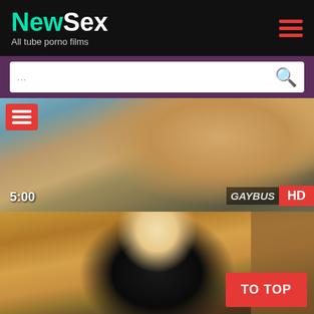NewSex — All tube porno films
[Figure (screenshot): Search bar with placeholder dots and magnifying glass icon]
[Figure (photo): Video thumbnail showing two people in a vehicle, duration 5:00, GAYBUS watermark, HD badge]
[Figure (photo): Video thumbnail showing a blonde woman in black lingerie and gloves indoors]
TO TOP